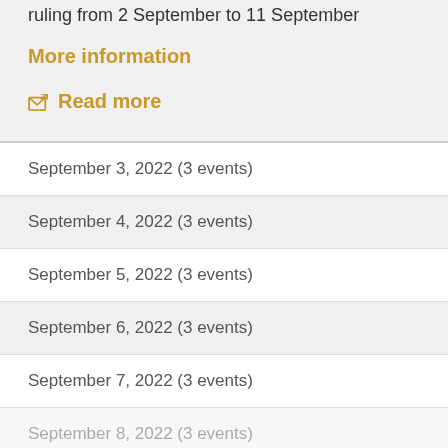ruling from 2 September to 11 September
More information
🔗 Read more
September 3, 2022 (3 events)
September 4, 2022 (3 events)
September 5, 2022 (3 events)
September 6, 2022 (3 events)
September 7, 2022 (3 events)
September 8, 2022 (3 events)